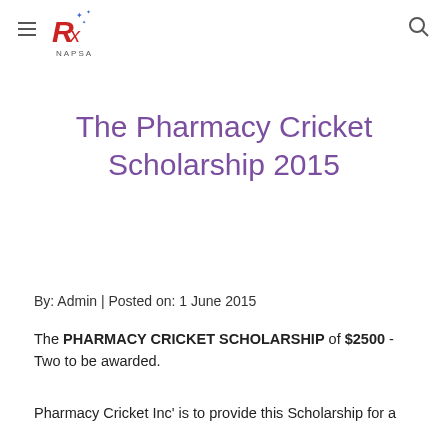NAPSA logo and navigation header
The Pharmacy Cricket Scholarship 2015
By: Admin | Posted on: 1 June 2015
The PHARMACY CRICKET SCHOLARSHIP of $2500 - Two to be awarded.
Pharmacy Cricket Inc' is to provide this Scholarship for a